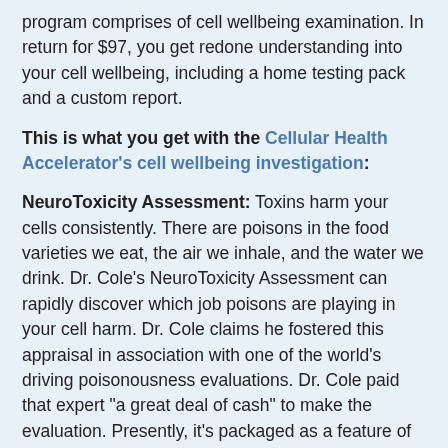program comprises of cell wellbeing examination. In return for $97, you get redone understanding into your cell wellbeing, including a home testing pack and a custom report.
This is what you get with the Cellular Health Accelerator's cell wellbeing investigation:
NeuroToxicity Assessment: Toxins harm your cells consistently. There are poisons in the food varieties we eat, the air we inhale, and the water we drink. Dr. Cole's NeuroToxicity Assessment can rapidly discover which job poisons are playing in your cell harm. Dr. Cole claims he fostered this appraisal in association with one of the world's driving poisonousness evaluations. Dr. Cole paid that expert "a great deal of cash" to make the evaluation. Presently, it's packaged as a feature of the Cellular Health Accelerator program.
At-Home Cellular Health Testing Kit: Dr. Cole portrays this home testing pack as his "unmistakable advantage." It's a test that can be acted in the protection of your home. Dr. Cole even